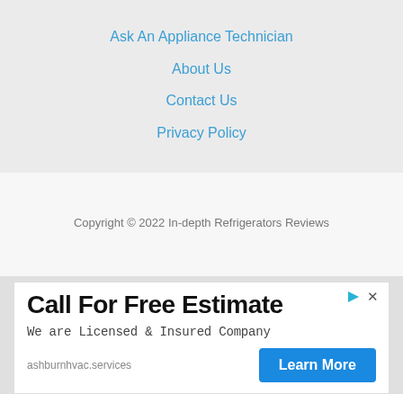Ask An Appliance Technician
About Us
Contact Us
Privacy Policy
Copyright © 2022 In-depth Refrigerators Reviews
[Figure (other): Advertisement banner: 'Call For Free Estimate — We are Licensed & Insured Company — ashburnhvac.services — Learn More button']